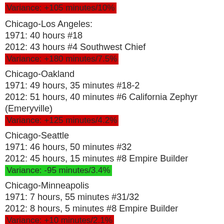Variance: +105 minutes/10%
Chicago-Los Angeles:
1971: 40 hours #18
2012: 43 hours #4 Southwest Chief
Variance: +180 minutes/7.5%
Chicago-Oakland
1971: 49 hours, 35 minutes #18-2
2012: 51 hours, 40 minutes #6 California Zephyr (Emeryville)
Variance: +125 minutes/4.2%
Chicago-Seattle
1971: 46 hours, 50 minutes #32
2012: 45 hours, 15 minutes #8 Empire Builder
Variance: -95 minutes/3.4%
Chicago-Minneapolis
1971: 7 hours, 55 minutes #31/32
2012: 8 hours, 5 minutes #8 Empire Builder
Variance: +10 minutes/2.1%